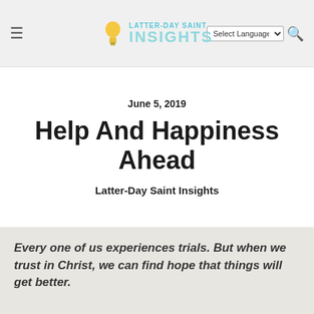Latter-Day Saint Insights — navigation header with hamburger menu, logo, language selector, and search icon
June 5, 2019
Help And Happiness Ahead
Latter-Day Saint Insights
Every one of us experiences trials. But when we trust in Christ, we can find hope that things will get better.